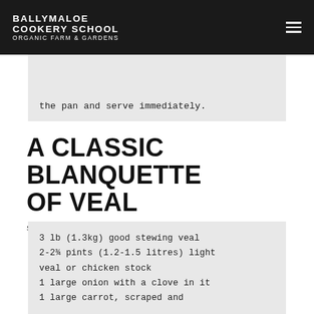BALLYMALOE COOKERY SCHOOL ORGANIC FARM & GARDENS
the pan and serve immediately.
A CLASSIC BLANQUETTE OF VEAL
SERVES 6
3 lb (1.3kg) good stewing veal
2-2¾ pints (1.2-1.5 litres) light veal or chicken stock
1 large onion with a clove in it
1 large carrot, scraped and